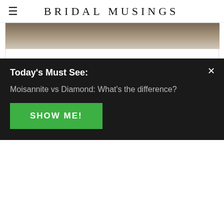BRIDAL MUSINGS
Ethereal Seaside Wedding Ideas For A Greek Goddess Bride
ACCESSORIES
[Figure (screenshot): Partially visible article card with greyed out image and text: Organic Gold: Jannie Baltzer's Stunning Bridal]
We use cookies to optimize our website and our
Today's Must See:
Moisannite vs Diamond: What's the difference?
SHOW ME!